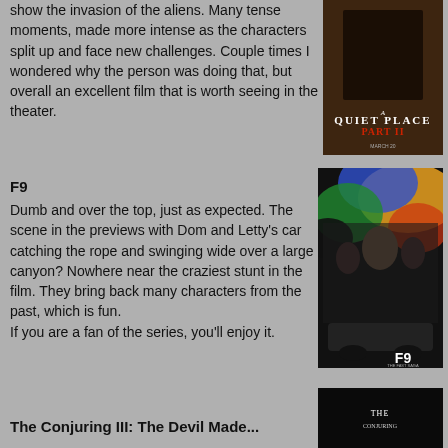show the invasion of the aliens. Many tense moments, made more intense as the characters split up and face new challenges. Couple times I wondered why the person was doing that, but overall an excellent film that is worth seeing in the theater.
[Figure (photo): Movie poster for A Quiet Place Part II, showing March 20 release date]
F9
Dumb and over the top, just as expected. The scene in the previews with Dom and Letty's car catching the rope and swinging wide over a large canyon? Nowhere near the craziest stunt in the film. They bring back many characters from the past, which is fun.
If you are a fan of the series, you'll enjoy it.
[Figure (photo): Movie poster for F9 The Fast Saga, June 25, featuring cast ensemble with colorful smoke background]
The Conjuring III: The Devil Made...